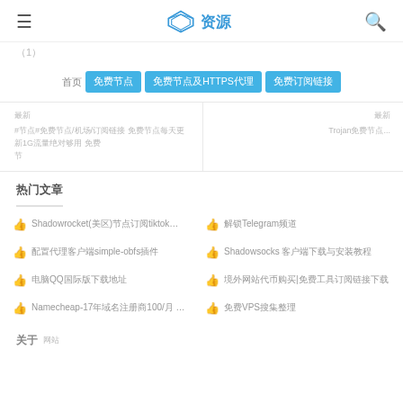≡  资源  🔍
（1）
首页  免费节点  免费节点及HTTPS代理 免费订阅链接
最新 #节点#免费节点/机场/订阅链接 免费节点每天更新1G流量绝对够用 免费Trojan节点...
热门文章
Shadowrocket(美区)节点订阅tiktok...
解锁Telegram频道
配置代理客户端simple-obfs插件
Shadowsocks 客户端下载与安装教程
电脑QQ国际版下载地址
境外网站代币购买|免费工具订阅链接下载
Namecheap-17年域名注册商100/月...
免费VPS搜集整理
关于 网站